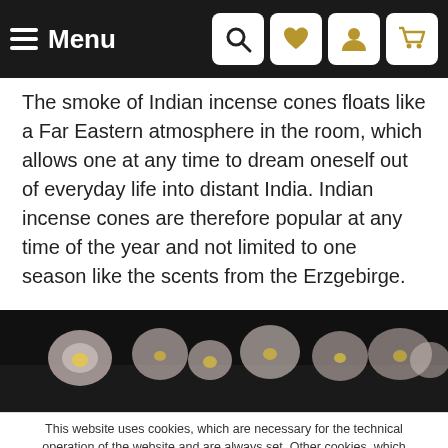Menu
The smoke of Indian incense cones floats like a Far Eastern atmosphere in the room, which allows one at any time to dream oneself out of everyday life into distant India. Indian incense cones are therefore popular at any time of the year and not limited to one season like the scents from the Erzgebirge.
[Figure (photo): Close-up photo of incense cones or flowers on a dark background]
This website uses cookies, which are necessary for the technical operation of the website and are always set. Other cookies, which increase the usability of this website, serve for direct advertising or simplify interaction with other websites and social networks, will only be used with your consent. More information
Decline | Accept all | Configure